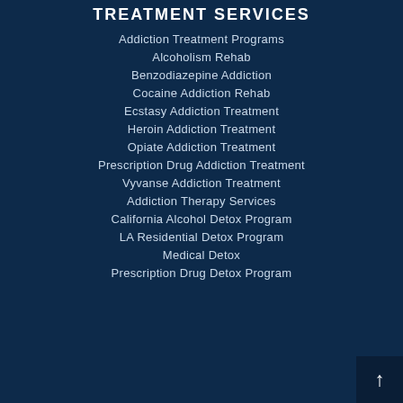TREATMENT SERVICES
Addiction Treatment Programs
Alcoholism Rehab
Benzodiazepine Addiction
Cocaine Addiction Rehab
Ecstasy Addiction Treatment
Heroin Addiction Treatment
Opiate Addiction Treatment
Prescription Drug Addiction Treatment
Vyvanse Addiction Treatment
Addiction Therapy Services
California Alcohol Detox Program
LA Residential Detox Program
Medical Detox
Prescription Drug Detox Program